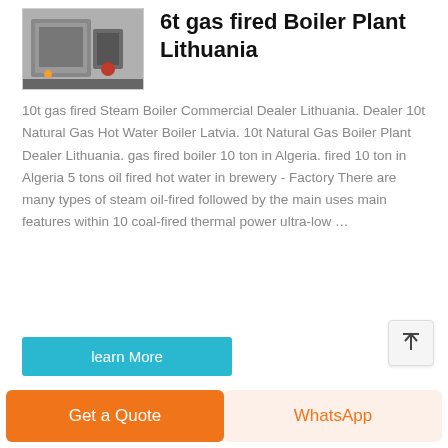[Figure (photo): Industrial gas-fired boiler unit photographed in a facility, showing grey/silver metal boiler equipment with red components.]
6t gas fired Boiler Plant Lithuania
10t gas fired Steam Boiler Commercial Dealer Lithuania. Dealer 10t Natural Gas Hot Water Boiler Latvia. 10t Natural Gas Boiler Plant Dealer Lithuania. gas fired boiler 10 ton in Algeria. fired 10 ton in Algeria 5 tons oil fired hot water in brewery - Factory There are many types of steam oil-fired followed by the main uses main features within 10 coal-fired thermal power ultra-low …
learn More
Get a Quote
WhatsApp